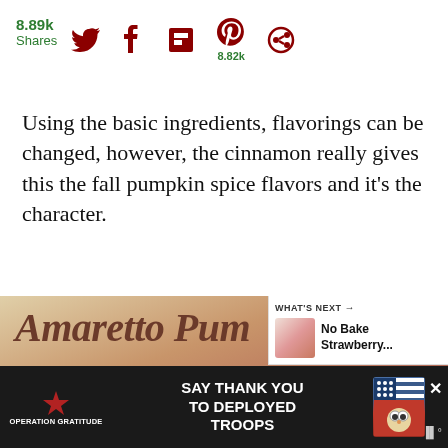8.89k Shares
Using the basic ingredients, flavorings can be changed, however, the cinnamon really gives this the fall pumpkin spice flavors and it's the character.
[Figure (photo): Photo of Amaretto Pumpkin Cheesecake with stylized italic text overlay on a warm-toned background]
[Figure (screenshot): What's Next panel showing No Bake Strawberry... next recipe thumbnail]
[Figure (other): Operation Gratitude advertisement banner: SAY THANK YOU TO DEPLOYED TROOPS with patriotic imagery and character mascot]